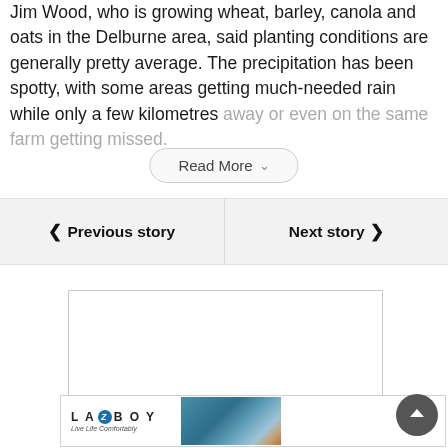Jim Wood, who is growing wheat, barley, canola and oats in the Delburne area, said planting conditions are generally pretty average. The precipitation has been spotty, with some areas getting much-needed rain while only a few kilometres away or even on the same farm getting missed.
Read More
Previous story
Next story
[Figure (other): Empty advertisement placeholder box with border]
[Figure (other): La-Z-Boy advertisement banner with logo on left and teal sofa image on right]